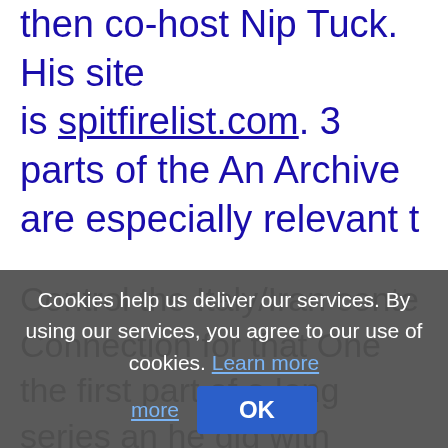then co-host Nip Tuck. His site is spitfirelist.com. 3 parts of the An Archive are especially relevant t
[Figure (screenshot): Cookie consent overlay dialog with dark semi-transparent background showing the message: 'Cookies help us deliver our services. By using our services, you agree to our use of cookies. Learn more OK' with a blue OK button.]